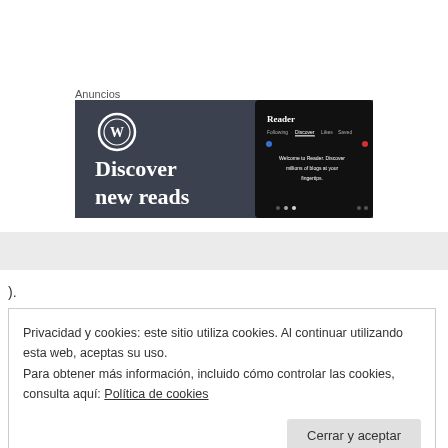Anuncios
[Figure (screenshot): WordPress Reader advertisement banner with dark background showing WordPress logo, 'Discover new reads' text on left, and a phone mockup showing the Reader app with 'Following', 'Discover', 'Likes', 'Saved' tabs and text 'Welcome to Reader. Discover millions of blogs at your fingertips.']
).
Privacidad y cookies: este sitio utiliza cookies. Al continuar utilizando esta web, aceptas su uso.
Para obtener más información, incluido cómo controlar las cookies, consulta aquí: Política de cookies
Cerrar y aceptar